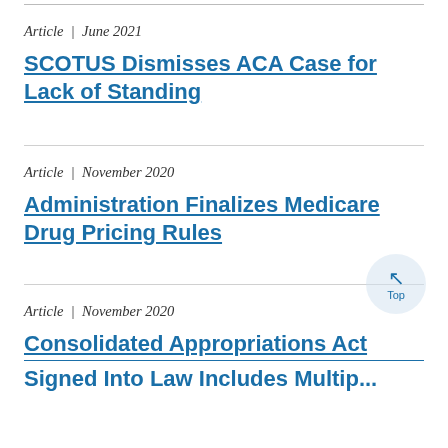Article | June 2021
SCOTUS Dismisses ACA Case for Lack of Standing
Article | November 2020
Administration Finalizes Medicare Drug Pricing Rules
Article | November 2020
Consolidated Appropriations Act Signed Into Law Includes Multiple...